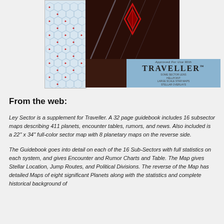[Figure (photo): Photo of the Ley Sector supplement product, showing a book/map package with hexagonal star map pattern on the left side and a dark cover on the right, with a blue band at the bottom reading 'Approved For Use With TRAVELLER™', wrapped in clear plastic.]
From the web:
Ley Sector is a supplement for Traveller. A 32 page guidebook includes 16 subsector maps describing 411 planets, encounter tables, rumors, and news. Also included is a 22" x 34" full-color sector map with 8 planetary maps on the reverse side.
The Guidebook goes into detail on each of the 16 Sub-Sectors with full statistics on each system, and gives Encounter and Rumor Charts and Table.  The Map gives Stellar Location, Jump Routes, and Political Divisions.  The reverse of the Map has detailed Maps of eight significant Planets along with the statistics and complete historical background of